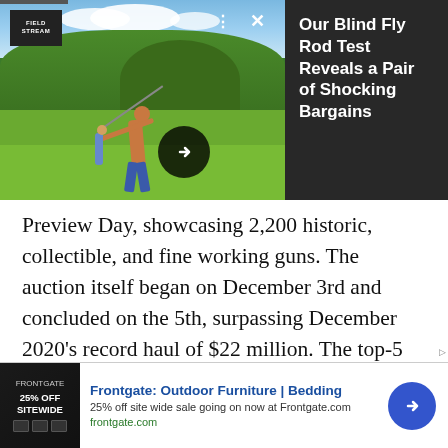[Figure (photo): A man casting a fishing rod on a green lawn outdoors, with trees and cloudy sky in background. A logo box reading 'FIELD STREAM' is in the top left. Controls (dots, X) in top right area. Arrow button overlaid.]
Our Blind Fly Rod Test Reveals a Pair of Shocking Bargains
Preview Day, showcasing 2,200 historic, collectible, and fine working guns. The auction itself began on December 3rd and concluded on the 5th, surpassing December 2020's record haul of $22 million. The top-5 selling lots alone went for more than 5 million. Here they are, including ties.
1. Napoleon's Garniture
[Figure (screenshot): Advertisement banner for Frontgate: Outdoor Furniture | Bedding. Shows 25% OFF SITEWIDE sale. Text: 25% off site wide sale going on now at Frontgate.com. frontgate.com link shown. Blue arrow button on right.]